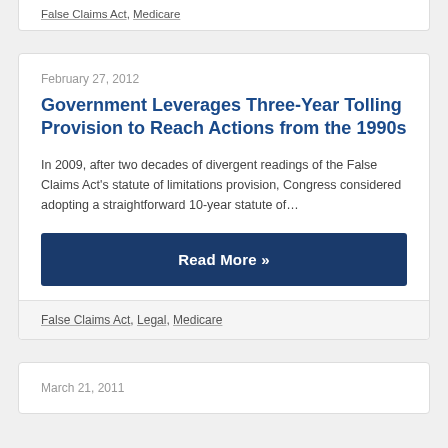False Claims Act, Medicare
February 27, 2012
Government Leverages Three-Year Tolling Provision to Reach Actions from the 1990s
In 2009, after two decades of divergent readings of the False Claims Act's statute of limitations provision, Congress considered adopting a straightforward 10-year statute of…
Read More »
False Claims Act, Legal, Medicare
March 21, 2011